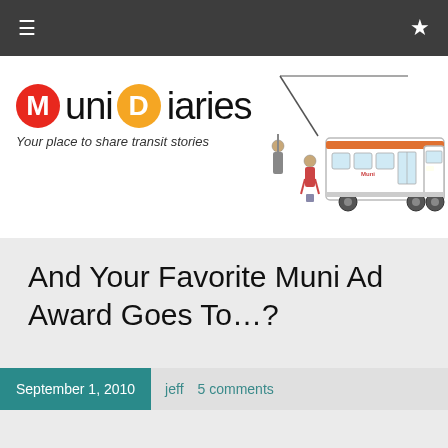☰ ★
[Figure (illustration): Muni Diaries website header logo with red circle M, orange circle D, 'uni Diaries' text, tagline 'Your place to share transit stories', and illustration of a trolley bus with passengers]
And Your Favorite Muni Ad Award Goes To…?
September 1, 2010  jeff  5 comments